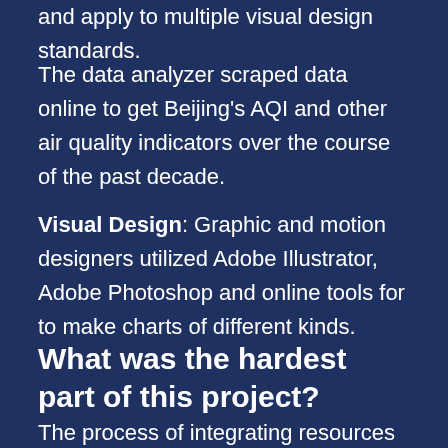and apply to multiple visual design standards.
The data analyzer scraped data online to get Beijing's AQI and other air quality indicators over the course of the past decade.
Visual Design: Graphic and motion designers utilized Adobe Illustrator, Adobe Photoshop and online tools for to make charts of different kinds.
What was the hardest part of this project?
The process of integrating resources and